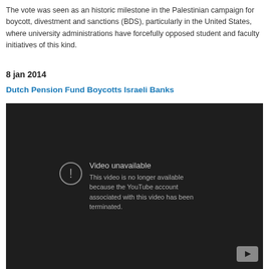The vote was seen as an historic milestone in the Palestinian campaign for boycott, divestment and sanctions (BDS), particularly in the United States, where university administrations have forcefully opposed student and faculty initiatives of this kind.
8 jan 2014
Dutch Pension Fund Boycotts Israeli Banks
[Figure (screenshot): YouTube video embed showing 'Video unavailable' error message on dark background. Text reads: 'Video unavailable. This video is no longer available because the YouTube account associated with this video has been terminated.' YouTube logo icon visible in bottom right corner.]